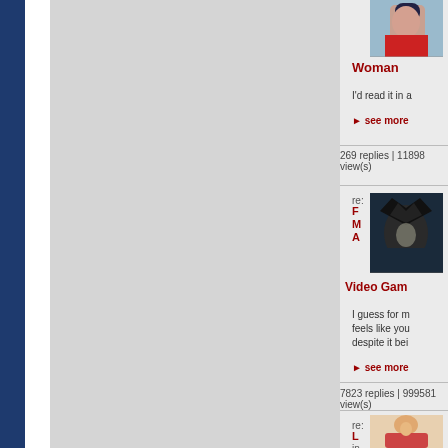[Figure (illustration): Comic book style avatar image of a female character (top of page, right side)]
Woman
I'd read it in a
see more
269 replies | 11898 view(s)
[Figure (illustration): Comic book style avatar image of Batman]
re:
M
A
Video Gam
I guess for m feels like you despite it bei
see more
7823 replies | 999581 view(s)
[Figure (illustration): Comic book style avatar image of a character in a chair]
re:
M
in
Well, I assum Servitors are